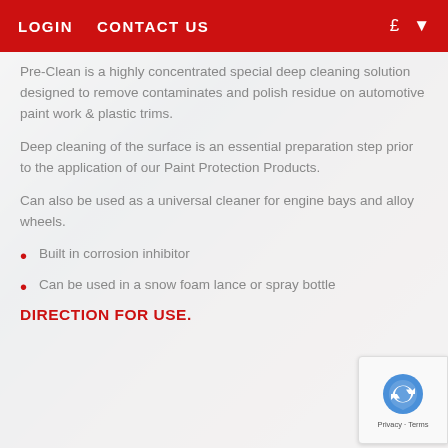LOGIN   CONTACT US   £  ▾
Pre-Clean is a highly concentrated special deep cleaning solution designed to remove contaminates and polish residue on automotive paint work & plastic trims.
Deep cleaning of the surface is an essential preparation step prior to the application of our Paint Protection Products.
Can also be used as a universal cleaner for engine bays and alloy wheels.
Built in corrosion inhibitor
Can be used in a snow foam lance or spray bottle
DIRECTION FOR USE.